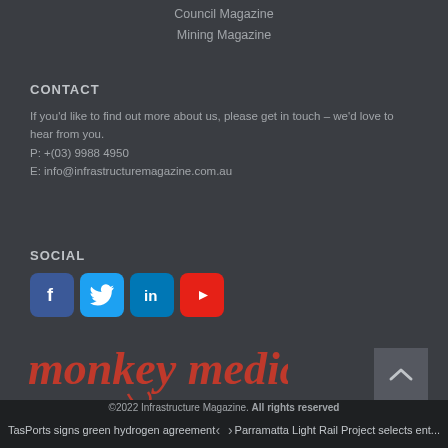Council Magazine
Mining Magazine
CONTACT
If you'd like to find out more about us, please get in touch – we'd love to hear from you.
P: +(03) 9988 4950
E: info@infrastructuremagazine.com.au
SOCIAL
[Figure (other): Social media icons: Facebook, Twitter, LinkedIn, YouTube]
[Figure (logo): monkey media logo in red italic text with decorative swirl]
©2022 Infrastructure Magazine. All rights reserved
TasPorts signs green hydrogen agreement  <  >  Parramatta Light Rail Project selects ent...